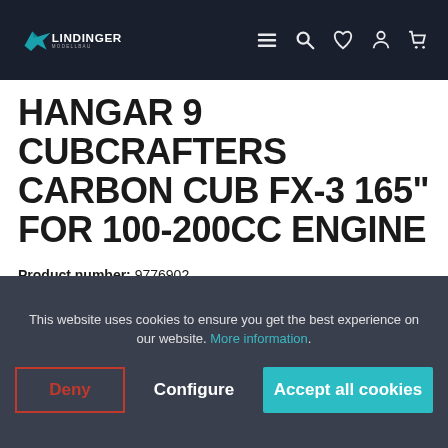Lindinger RC logo and navigation header
HANGAR 9 CUBCRAFTERS CARBON CUB FX-3 165" FOR 100-200CC ENGINE
Product number: 9776902
Manufacturer number: HAN5280
GTIN/EAN: 605482918722
This website uses cookies to ensure you get the best experience on our website. More information.
Deny   Configure   Accept all cookies